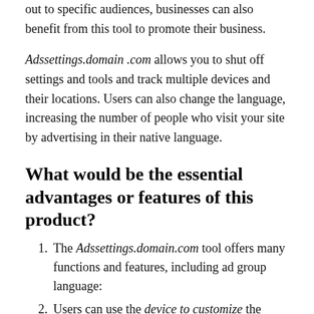out to specific audiences, businesses can also benefit from this tool to promote their business.
Adssettings.domain .com allows you to shut off settings and tools and track multiple devices and their locations. Users can also change the language, increasing the number of people who visit your site by advertising in their native language.
What would be the essential advantages or features of this product?
The Adssettings.domain.com tool offers many functions and features, including ad group language:
Users can use the device to customize the settings in online ads following the audience.
What can utilize the tool for targeting audiences based on their geographical location? For all digital